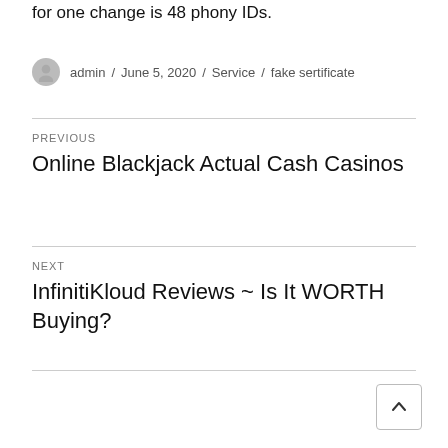for one change is 48 phony IDs.
admin / June 5, 2020 / Service / fake sertificate
PREVIOUS
Online Blackjack Actual Cash Casinos
NEXT
InfinitiKloud Reviews ~ Is It WORTH Buying?